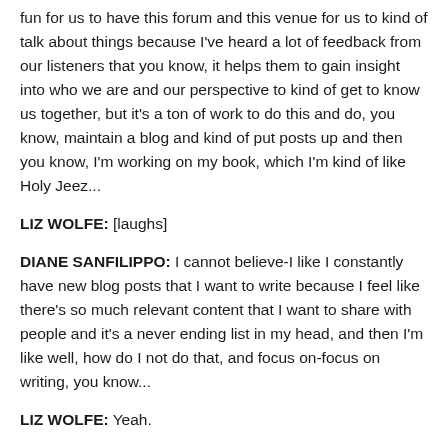fun for us to have this forum and this venue for us to kind of talk about things because I've heard a lot of feedback from our listeners that you know, it helps them to gain insight into who we are and our perspective to kind of get to know us together, but it's a ton of work to do this and do, you know, maintain a blog and kind of put posts up and then you know, I'm working on my book, which I'm kind of like Holy Jeez...
LIZ WOLFE: [laughs]
DIANE SANFILIPPO: I cannot believe-I like I constantly have new blog posts that I want to write because I feel like there's so much relevant content that I want to share with people and it's a never ending list in my head, and then I'm like well, how do I not do that, and focus on-focus on writing, you know...
LIZ WOLFE: Yeah.